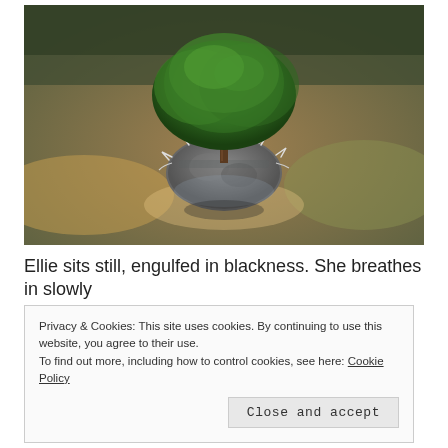[Figure (photo): A miniature tree growing from a small globe of earth and rock, floating above a blurred natural background with pebbles and greenery.]
Ellie sits still, engulfed in blackness. She breathes in slowly
Privacy & Cookies: This site uses cookies. By continuing to use this website, you agree to their use.
To find out more, including how to control cookies, see here: Cookie Policy
[Close and accept]